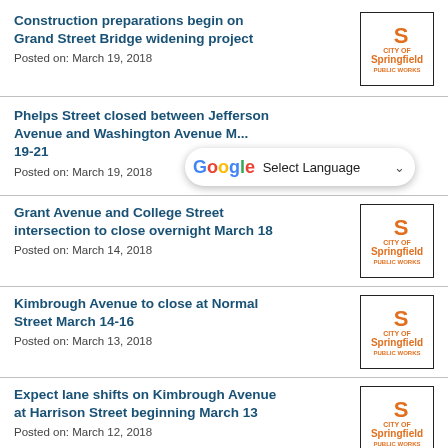Construction preparations begin on Grand Street Bridge widening project
Posted on: March 19, 2018
Phelps Street closed between Jefferson Avenue and Washington Avenue M... 19-21
Posted on: March 19, 2018
Grant Avenue and College Street intersection to close overnight March 18
Posted on: March 14, 2018
Kimbrough Avenue to close at Normal Street March 14-16
Posted on: March 13, 2018
Expect lane shifts on Kimbrough Avenue at Harrison Street beginning March 13
Posted on: March 12, 2018